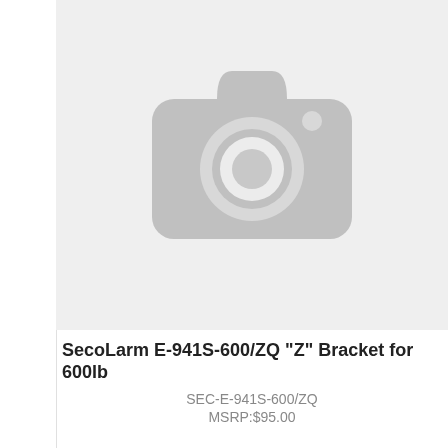[Figure (photo): Placeholder image with camera icon on light gray background, representing a product image not yet available]
SecoLarm E-941S-600/ZQ "Z" Bracket for 600lb
SEC-E-941S-600/ZQ
MSRP:$95.00